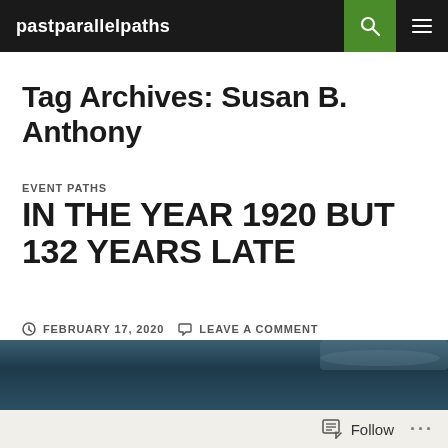pastparallelpaths
Tag Archives: Susan B. Anthony
EVENT PATHS
IN THE YEAR 1920 BUT 132 YEARS LATE
FEBRUARY 17, 2020  LEAVE A COMMENT
[Figure (photo): Partial view of a dark blue/teal sky or water image, partially visible at the bottom of the page]
Follow ...